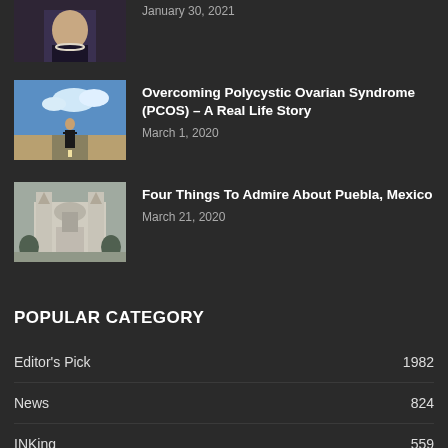[Figure (photo): Partial article thumbnail showing woman with pearl necklace in blue dress]
January 30, 2021
[Figure (photo): Woman in black dress standing on open road with blue sky and clouds]
Overcoming Polycystic Ovarian Syndrome (PCOS) – A Real Life Story
March 1, 2020
[Figure (photo): Cathedral or church building in Puebla, Mexico]
Four Things To Admire About Puebla, Mexico
March 21, 2020
POPULAR CATEGORY
Editor's Pick  1982
News  824
INKing  559
Entertainment  472
Business  452